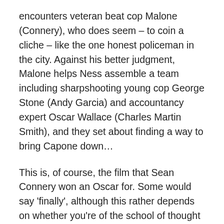encounters veteran beat cop Malone (Connery), who does seem – to coin a cliche – like the one honest policeman in the city. Against his better judgment, Malone helps Ness assemble a team including sharpshooting young cop George Stone (Andy Garcia) and accountancy expert Oscar Wallace (Charles Martin Smith), and they set about finding a way to bring Capone down…
This is, of course, the film that Sean Connery won an Oscar for. Some would say 'finally', although this rather depends on whether you're of the school of thought that Academy Awards should genuinely reward the best pieces of film acting in a given year, or go to people with lengthy careers and impressive bodies of work as movie stars. I've often been quite lukewarm about Connery and his acting – there's a good deal of potboiling dross on the Connery CV,